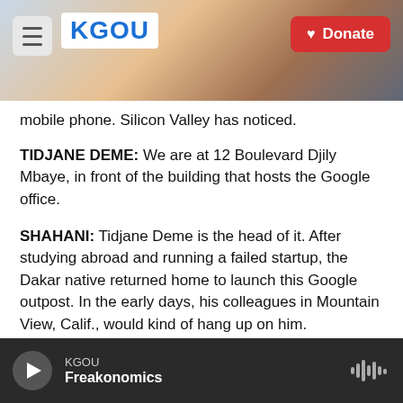[Figure (screenshot): KGOU radio website header with hamburger menu, KGOU logo, city background photo, and red Donate button]
mobile phone. Silicon Valley has noticed.
TIDJANE DEME: We are at 12 Boulevard Djily Mbaye, in front of the building that hosts the Google office.
SHAHANI: Tidjane Deme is the head of it. After studying abroad and running a failed startup, the Dakar native returned home to launch this Google outpost. In the early days, his colleagues in Mountain View, Calif., would kind of hang up on him.
KGOU Freakonomics